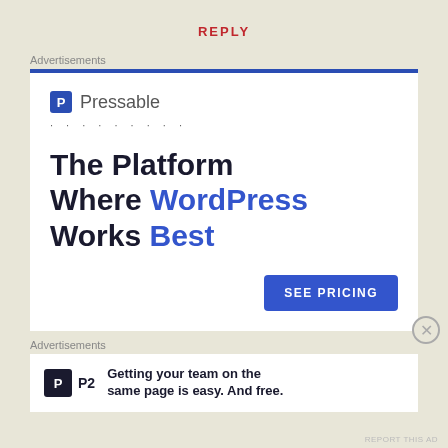REPLY
Advertisements
[Figure (illustration): Pressable advertisement banner: logo with 'P' icon and 'Pressable' name, dots decoration, large headline 'The Platform Where WordPress Works Best' with WordPress and Best in blue, and a blue 'SEE PRICING' button]
Advertisements
[Figure (illustration): P2 advertisement: P2 logo icon with 'P2' label, tagline 'Getting your team on the same page is easy. And free.']
REPORT THIS AD